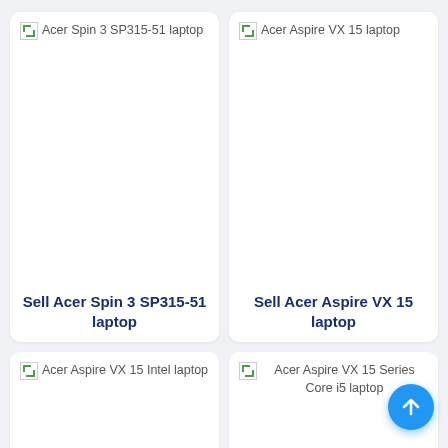[Figure (screenshot): Broken image placeholder for Acer Spin 3 SP315-51 laptop]
Sell Acer Spin 3 SP315-51 laptop
[Figure (screenshot): Broken image placeholder for Acer Aspire VX 15 laptop]
Sell Acer Aspire VX 15 laptop
[Figure (screenshot): Broken image placeholder for Acer Aspire VX 15 Intel laptop]
[Figure (screenshot): Broken image placeholder for Acer Aspire VX 15 Series Core i5 laptop]